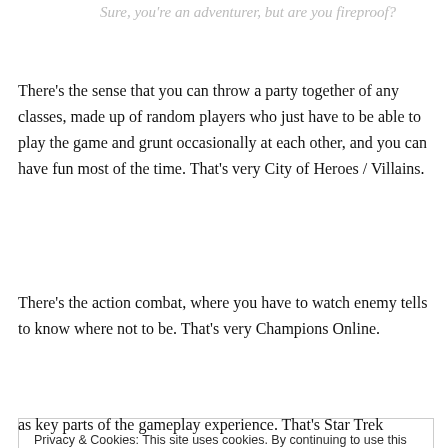Sure, you're an adventurer, but are you fireproof?
There's the sense that you can throw a party together of any classes, made up of random players who just have to be able to play the game and grunt occasionally at each other, and you can have fun most of the time. That's very City of Heroes / Villains.
There's the action combat, where you have to watch enemy tells to know where not to be. That's very Champions Online.
Privacy & Cookies: This site uses cookies. By continuing to use this website, you agree to their use.
To find out more, including how to control cookies, see here: Cookie Policy
Close and accept
as key parts of the gameplay experience. That's Star Trek